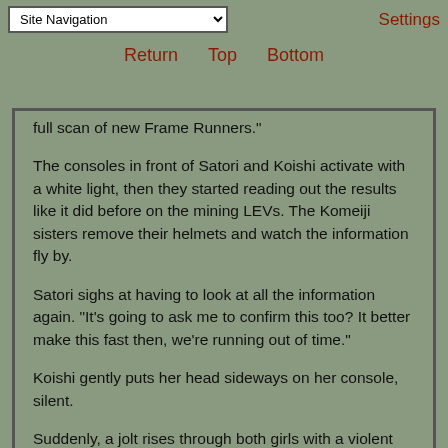Site Navigation | Return | Top | Bottom | Settings
full scan of new Frame Runners."
The consoles in front of Satori and Koishi activate with a white light, then they started reading out the results like it did before on the mining LEVs. The Komeiji sisters remove their helmets and watch the information fly by.
Satori sighs at having to look at all the information again. "It's going to ask me to confirm this too? It better make this fast then, we're running out of time."
Koishi gently puts her head sideways on her console, silent.
Suddenly, a jolt rises through both girls with a violent shock, causing them to wince in pain.
"I..." Satori blinks several times. "I can feel something hot flowing through my body!"